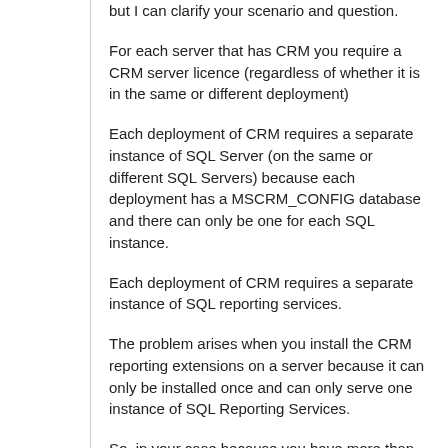but I can clarify your scenario and question.
For each server that has CRM you require a CRM server licence (regardless of whether it is in the same or different deployment)
Each deployment of CRM requires a separate instance of SQL Server (on the same or different SQL Servers) because each deployment has a MSCRM_CONFIG database and there can only be one for each SQL instance.
Each deployment of CRM requires a separate instance of SQL reporting services.
The problem arises when you install the CRM reporting extensions on a server because it can only be installed once and can only serve one instance of SQL Reporting Services.
So, in your case because you have more than one deployment you are forced to have SQL Reporting Services...